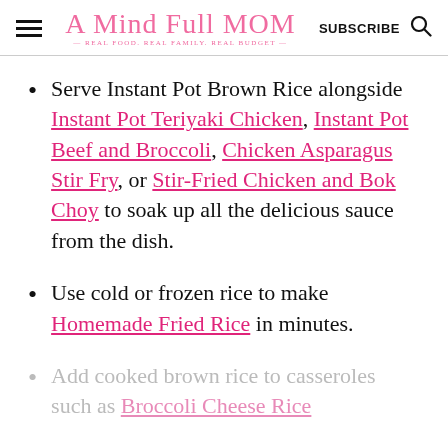A Mind Full Mom — REAL FOOD. REAL FAMILY. REAL BUDGET. | SUBSCRIBE
Serve Instant Pot Brown Rice alongside Instant Pot Teriyaki Chicken, Instant Pot Beef and Broccoli, Chicken Asparagus Stir Fry, or Stir-Fried Chicken and Bok Choy to soak up all the delicious sauce from the dish.
Use cold or frozen rice to make Homemade Fried Rice in minutes.
Add cooked brown rice to casseroles such as Broccoli Cheese Rice